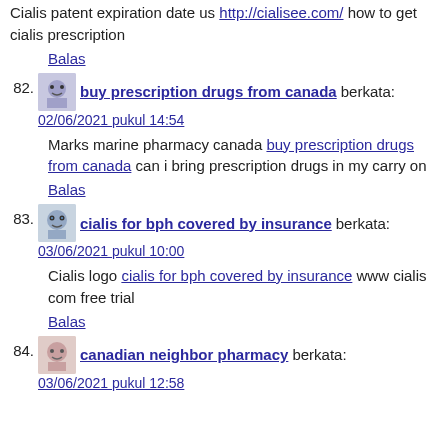Cialis patent expiration date us http://cialisee.com/ how to get cialis prescription
Balas
82. buy prescription drugs from canada berkata: 02/06/2021 pukul 14:54
Marks marine pharmacy canada buy prescription drugs from canada can i bring prescription drugs in my carry on
Balas
83. cialis for bph covered by insurance berkata: 03/06/2021 pukul 10:00
Cialis logo cialis for bph covered by insurance www cialis com free trial
Balas
84. canadian neighbor pharmacy berkata: 03/06/2021 pukul 12:58